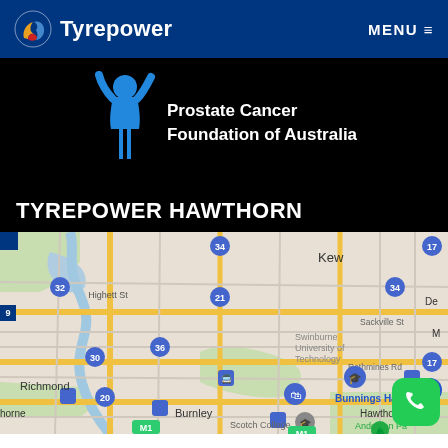Tyrepower | MENU
[Figure (logo): Prostate Cancer Foundation of Australia logo with blue figure and white text on black background]
TYREPOWER HAWTHORN
[Figure (map): Google Maps view of Hawthorn area in Melbourne, Australia, showing Kew, Swinburne University of Technology, Bunnings Hawthorn, Richmond, Burnley, Scotch College, Hawthorn East, Anderson Park, and nearby streets and landmarks.]